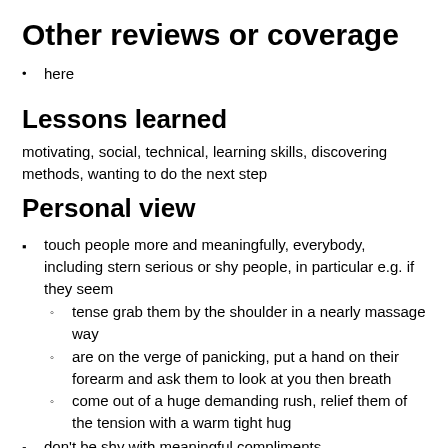Other reviews or coverage
here
Lessons learned
motivating, social, technical, learning skills, discovering methods, wanting to do the next step
Personal view
touch people more and meaningfully, everybody, including stern serious or shy people, in particular e.g. if they seem
tense grab them by the shoulder in a nearly massage way
are on the verge of panicking, put a hand on their forearm and ask them to look at you then breath
come out of a huge demanding rush, relief them of the tension with a warm tight hug
don't be shy with meaningful compliments
obverse the interaction dynamics, straight away show the